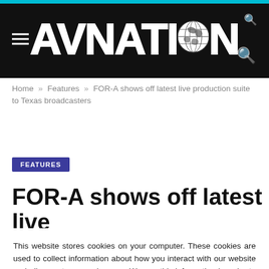AVNation
Home » Features » FOR-A shows off latest live production suite to Texas broadcasters
FEATURES
FOR-A shows off latest live
This website stores cookies on your computer. These cookies are used to collect information about how you interact with our website and allow us to remember you. We use this information in order to improve and customize your browsing experience and for analytics and metrics about our visitors both on this website and other media. To find out more about the cookies we use, see our Privacy Policy.
Accept